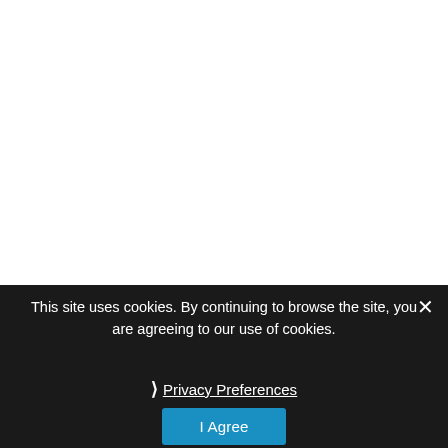This site uses cookies. By continuing to browse the site, you are agreeing to our use of cookies.
Privacy Preferences
I Agree